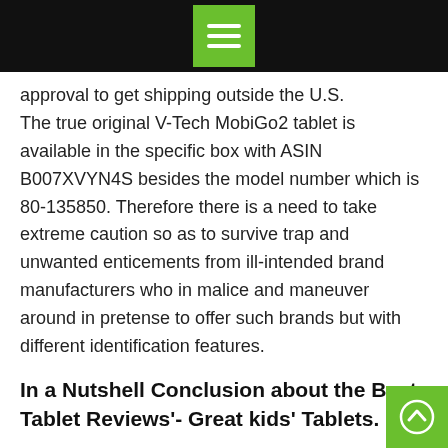[Menu icon]
approval to get shipping outside the U.S. The true original V-Tech MobiGo2 tablet is available in the specific box with ASIN B007XVYN4S besides the model number which is 80-135850. Therefore there is a need to take extreme caution so as to survive trap and unwanted enticements from ill-intended brand manufacturers who in malice and maneuver around in pretense to offer such brands but with different identification features.
In a Nutshell Conclusion about the Best Tablet Reviews'- Great kids' Tablets.
Just like iron sharpens iron, hi-tech learning produces super technology wizards, and the self-reliant generation just like the best learning devices will bear…